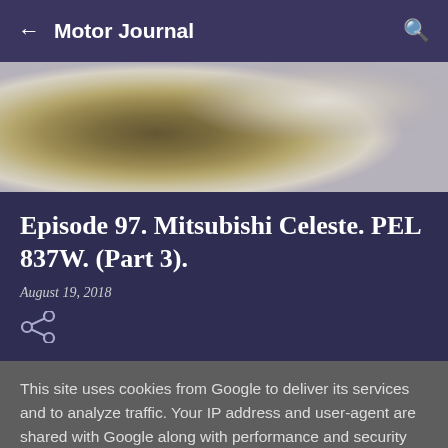Motor Journal
[Figure (photo): Blurred background photo showing a car or vehicle part, with brown/gold and white/grey tones, heavily out of focus.]
Episode 97. Mitsubishi Celeste. PEL 837W. (Part 3).
August 19, 2018
This site uses cookies from Google to deliver its services and to analyze traffic. Your IP address and user-agent are shared with Google along with performance and security metrics to ensure quality of service, generate usage statistics, and to detect and address abuse.
LEARN MORE   OK